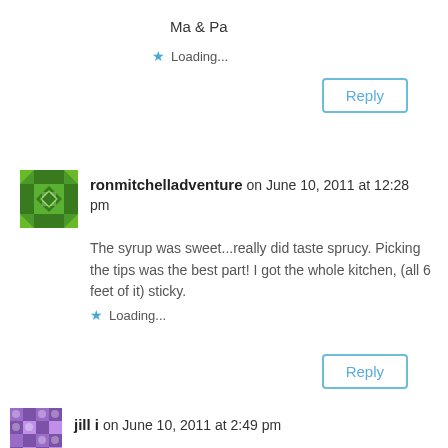Ma & Pa
Loading...
Reply
ronmitchelladventure on June 10, 2011 at 12:28 pm
The syrup was sweet...really did taste sprucy. Picking the tips was the best part! I got the whole kitchen, (all 6 feet of it) sticky.
Loading...
Reply
jill i on June 10, 2011 at 2:49 pm